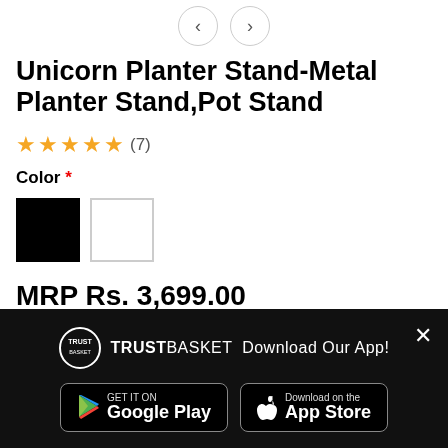[Figure (other): Navigation left/right arrows (carousel controls)]
Unicorn Planter Stand-Metal Planter Stand,Pot Stand
★★★★★ (7)
Color *
[Figure (other): Color swatches: black square and white square]
MRP Rs. 3,699.00
Quantity:
[Figure (other): Quantity stepper control showing minus, 1, plus]
[Figure (other): TrustBasket app download banner with Google Play and App Store buttons and close X button]